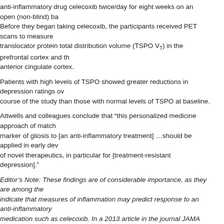anti-inflammatory drug celecoxib twice/day for eight weeks on an open (non-blind) basis. Before they began taking celecoxib, the participants received PET scans to measure translocator protein total distribution volume (TSPO VT) in the prefrontal cortex and the anterior cingulate cortex.
Patients with high levels of TSPO showed greater reductions in depression ratings over the course of the study than those with normal levels of TSPO at baseline.
Attwells and colleagues conclude that “this personalized medicine approach of matching a marker of gliosis to [an anti-inflammatory treatment] …should be applied in early development of novel therapeutics, in particular for [treatment-resistant depression].”
Editor’s Note: These findings are of considerable importance, as they are among the first to indicate that measures of inflammation may predict response to an anti-inflammatory medication such as celecoxib. In a 2013 article in the journal JAMA Psychiatry, Charles Raison and colleagues reported that patients with high levels of the peripheral inflammatory marker CRP saw marked improvement in their depression when they received the anti-inflammatory treatment infliximab while those with lower or normal levels of inflammation actually worsened.
Tags: anti-inflammatory, celecoxib, gliosis, inflammation, PET scan, translocator protein total distribution volume, unipolar depression